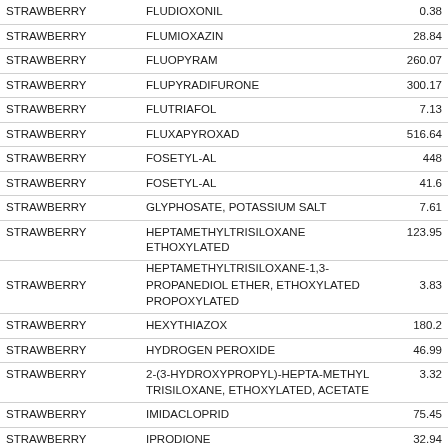|  |  |  |
| --- | --- | --- |
| STRAWBERRY | FLUDIOXONIL | 0.38 |
| STRAWBERRY | FLUMIOXAZIN | 28.84 |
| STRAWBERRY | FLUOPYRAM | 260.07 |
| STRAWBERRY | FLUPYRADIFURONE | 300.17 |
| STRAWBERRY | FLUTRIAFOL | 7.13 |
| STRAWBERRY | FLUXAPYROXAD | 516.64 |
| STRAWBERRY | FOSETYL-AL | 448 |
| STRAWBERRY | FOSETYL-AL | 41.6 |
| STRAWBERRY | GLYPHOSATE, POTASSIUM SALT | 7.61 |
| STRAWBERRY | HEPTAMETHYLTRISILOXANE ETHOXYLATED | 123.95 |
|  | HEPTAMETHYLTRISILOXANE-1,3- |  |
| STRAWBERRY | PROPANEDIOL ETHER, ETHOXYLATED PROPOXYLATED | 3.83 |
| STRAWBERRY | HEXYTHIAZOX | 180.2 |
| STRAWBERRY | HYDROGEN PEROXIDE | 46.99 |
| STRAWBERRY | 2-(3-HYDROXYPROPYL)-HEPTA-METHYL TRISILOXANE, ETHOXYLATED, ACETATE | 3.32 |
| STRAWBERRY | IMIDACLOPRID | 75.45 |
| STRAWBERRY | IPRODIONE | 32.94 |
| STRAWBERRY | IRON PHOSPHATE | 78.47 |